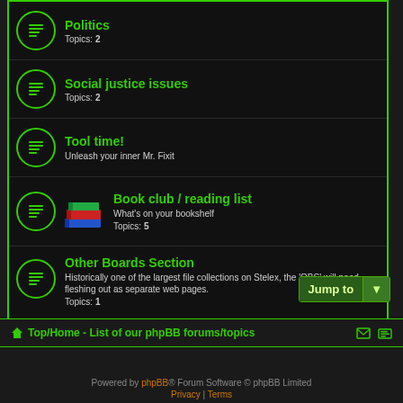Politics - Topics: 2
Social justice issues - Topics: 2
Tool time! - Unleash your inner Mr. Fixit
Book club / reading list - What's on your bookshelf - Topics: 5
Other Boards Section - Historically one of the largest file collections on Stelex, the 'OBS' will need fleshing out as separate web pages. Topics: 1
Top/Home - List of our phpBB forums/topics | Powered by phpBB® Forum Software © phpBB Limited | Privacy | Terms